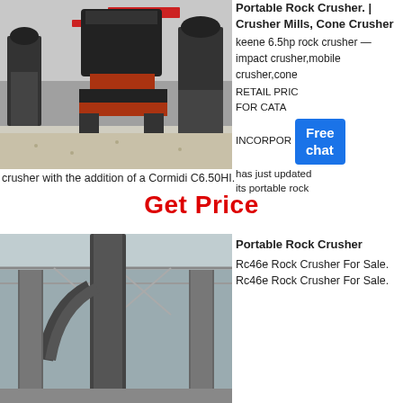[Figure (photo): Industrial rock crusher machines in a factory/warehouse setting with gravel floor and red banners in background.]
Portable Rock Crusher. | Crusher Mills, Cone Crusher keene 6.5hp rock crusher — impact crusher,mobile crusher,cone RETAIL PRICE FOR CATA INCORPOR has just updated its portable rock
crusher with the addition of a Cormidi C6.50HI.
Get Price
[Figure (photo): Industrial rock crusher equipment inside a warehouse with pipes and metal structure visible.]
Portable Rock Crusher Rc46e Rock Crusher For Sale. Rc46e Rock Crusher For Sale.